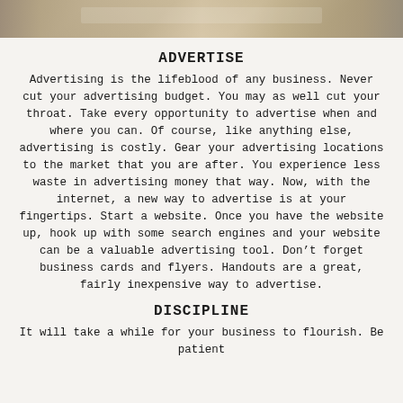[Figure (photo): Top portion of a photo showing hands writing or working at a desk with a notebook, warm tones]
ADVERTISE
Advertising is the lifeblood of any business. Never cut your advertising budget. You may as well cut your throat. Take every opportunity to advertise when and where you can. Of course, like anything else, advertising is costly. Gear your advertising locations to the market that you are after. You experience less waste in advertising money that way. Now, with the internet, a new way to advertise is at your fingertips. Start a website. Once you have the website up, hook up with some search engines and your website can be a valuable advertising tool. Don’t forget business cards and flyers. Handouts are a great, fairly inexpensive way to advertise.
DISCIPLINE
It will take a while for your business to flourish. Be patient